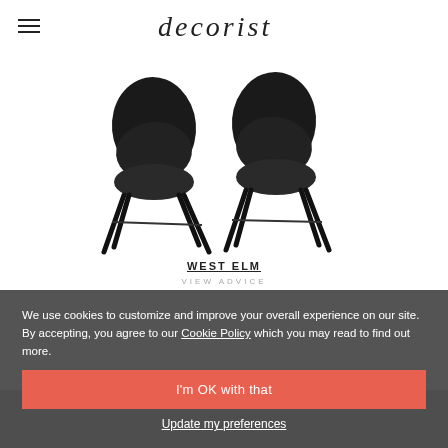decorist
[Figure (photo): Two black modern dining chairs with upholstered seats and dark wooden legs, shown from a slight angle]
WEST ELM
VIEW ADVICE
We use cookies to customize and improve your overall experience on our site. By accepting, you agree to our Cookie Policy which you may read to find out more.
I'm OK with that
Update my preferences
[Figure (photo): Partial view of a dark interior room with furniture, visible at the bottom of the page behind the cookie banner]